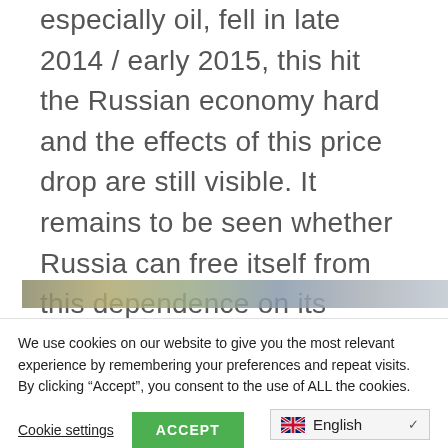especially oil, fell in late 2014 / early 2015, this hit the Russian economy hard and the effects of this price drop are still visible. It remains to be seen whether Russia can free itself from this dependence on its resource wealth.
[Figure (photo): Partial view of an image strip showing a blurred outdoor scene, partially obscured by a cookie consent overlay.]
We use cookies on our website to give you the most relevant experience by remembering your preferences and repeat visits. By clicking “Accept”, you consent to the use of ALL the cookies.
Cookie settings
ACCEPT
English